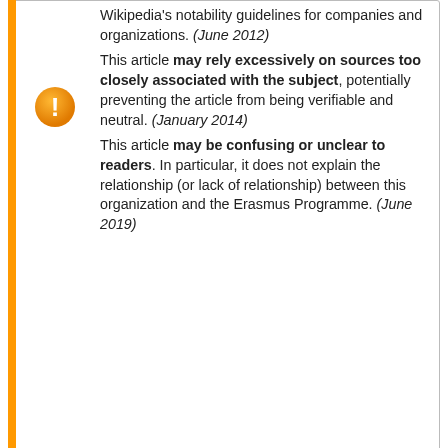Wikipedia's notability guidelines for companies and organizations. (June 2012)
This article may rely excessively on sources too closely associated with the subject, potentially preventing the article from being verifiable and neutral. (January 2014)
This article may be confusing or unclear to readers. In particular, it does not explain the relationship (or lack of relationship) between this organization and the Erasmus Programme. (June 2019)
Erasmus Student Network (ESN) is a Europe-wide student organisation.
The organization supports and develops student exchanges, both inside the Erasmus+ programme and outside of it. The local ESN sections offer help, guidance and information to both exchange students and students doing a full degree abroad – by informing them, but also providing them with different trips or